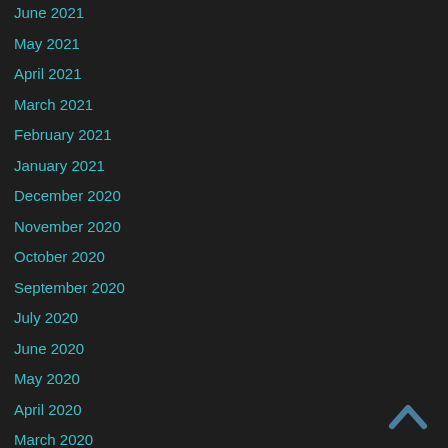June 2021
May 2021
April 2021
March 2021
February 2021
January 2021
December 2020
November 2020
October 2020
September 2020
July 2020
June 2020
May 2020
April 2020
March 2020
[Figure (illustration): Upward-pointing chevron/caret icon for scroll-to-top navigation, dark teal/blue color]